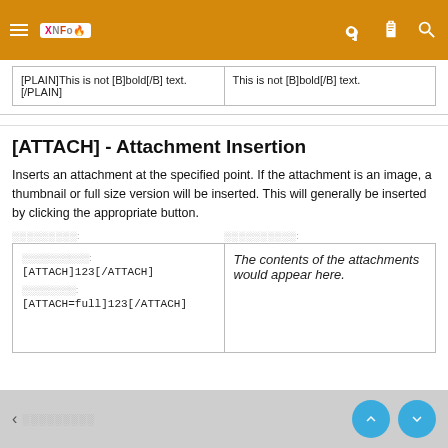[navigation bar with hamburger menu, logo, key icon, clipboard icon, search icon]
[PLAIN]This is not [B]bold[/B] text.[/PLAIN]
This is not [B]bold[/B] text.
[ATTACH] - Attachment Insertion
Inserts an attachment at the specified point. If the attachment is an image, a thumbnail or full size version will be inserted. This will generally be inserted by clicking the appropriate button.
Usage (example code): [ATTACH]123[/ATTACH]
Alternative: [ATTACH=full]123[/ATTACH]
The contents of the attachments would appear here.
◀ [back navigation]